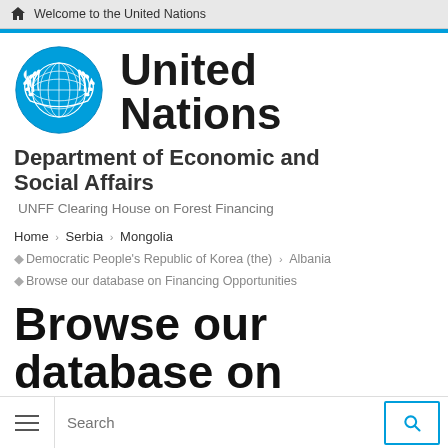Welcome to the United Nations
[Figure (logo): United Nations emblem logo in blue with globe and olive branches]
United Nations
Department of Economic and Social Affairs
UNFF Clearing House on Forest Financing
Home › Serbia › Mongolia · Democratic People's Republic of Korea (the) · Albania · Browse our database on Financing Opportunities
Browse our database on Financing Opportunities